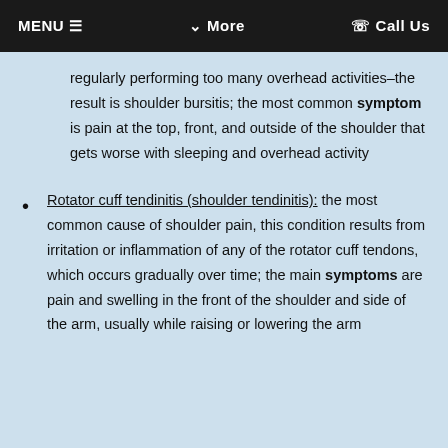MENU ≡   ∨ More   ✆ Call Us
regularly performing too many overhead activities–the result is shoulder bursitis; the most common symptom is pain at the top, front, and outside of the shoulder that gets worse with sleeping and overhead activity
Rotator cuff tendinitis (shoulder tendinitis): the most common cause of shoulder pain, this condition results from irritation or inflammation of any of the rotator cuff tendons, which occurs gradually over time; the main symptoms are pain and swelling in the front of the shoulder and side of the arm, usually while raising or lowering the arm